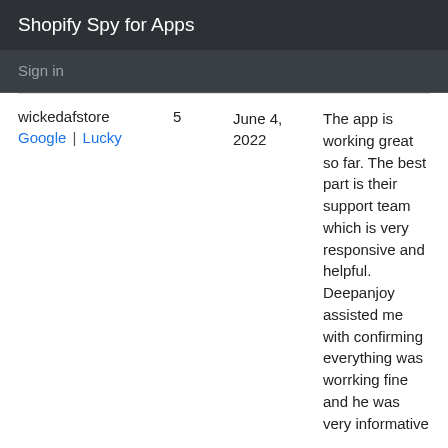Shopify Spy for Apps
Sign in
| Store | Rating | Date | Review |
| --- | --- | --- | --- |
| wickedafstore
Google | Lucky | 5 | June 4, 2022 | The app is working great so far. The best part is their support team which is very responsive and helpful. Deepanjoy assisted me with confirming everything was worrking fine and he was very informative |